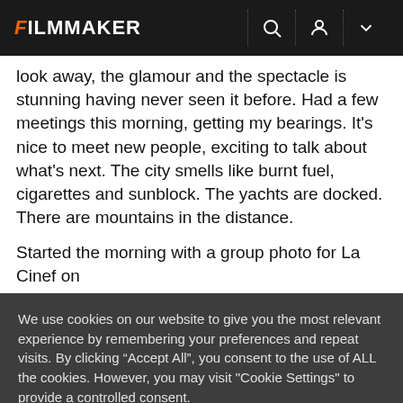FILMMAKER
look away, the glamour and the spectacle is stunning having never seen it before. Had a few meetings this morning, getting my bearings. It’s nice to meet new people, exciting to talk about what’s next. The city smells like burnt fuel, cigarettes and sunblock. The yachts are docked. There are mountains in the distance.
Started the morning with a group photo for La Cinef on
We use cookies on our website to give you the most relevant experience by remembering your preferences and repeat visits. By clicking “Accept All”, you consent to the use of ALL the cookies. However, you may visit "Cookie Settings" to provide a controlled consent.